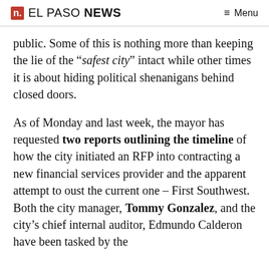n. EL PASO NEWS  ≡ Menu
public. Some of this is nothing more than keeping the lie of the “safest city” intact while other times it is about hiding political shenanigans behind closed doors.
As of Monday and last week, the mayor has requested two reports outlining the timeline of how the city initiated an RFP into contracting a new financial services provider and the apparent attempt to oust the current one – First Southwest. Both the city manager, Tommy Gonzalez, and the city’s chief internal auditor, Edmundo Calderon have been tasked by the